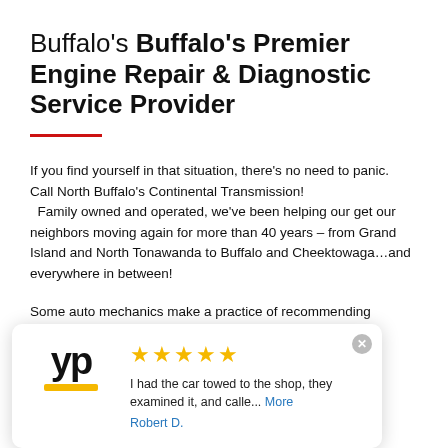Buffalo's Buffalo's Premier Engine Repair & Diagnostic Service Provider
If you find yourself in that situation, there's no need to panic.  Call North Buffalo's Continental Transmission!   Family owned and operated, we've been helping our get our neighbors moving again for more than 40 years – from Grand Island and North Tonawanda to Buffalo and Cheektowaga…and everywhere in between!
Some auto mechanics make a practice of recommending
[Figure (other): YP (Yellow Pages) review popup overlay showing 5 yellow stars, a review excerpt 'I had the car towed to the shop, they examined it, and calle... More' by Robert D., with the YP logo and yellow underline bar.]